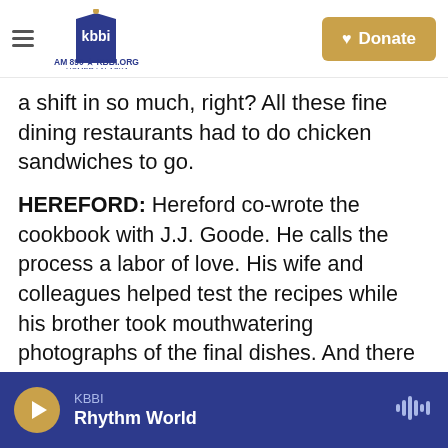KBBI AM 890 | KBBI.ORG Homer Alaska — Donate
a shift in so much, right? All these fine dining restaurants had to do chicken sandwiches to go.
HEREFORD: Hereford co-wrote the cookbook with J.J. Goode. He calls the process a labor of love. His wife and colleagues helped test the recipes while his brother took mouthwatering photographs of the final dishes. And there are lovely sections about the influence of his family and friends, including how he came up with the name Turkey and the Wolf. His late father used to call the kids turkeys when they were causing mischief, wolf because at the end of a long shift, Hereford and his crew were prone to
KBBI  Rhythm World